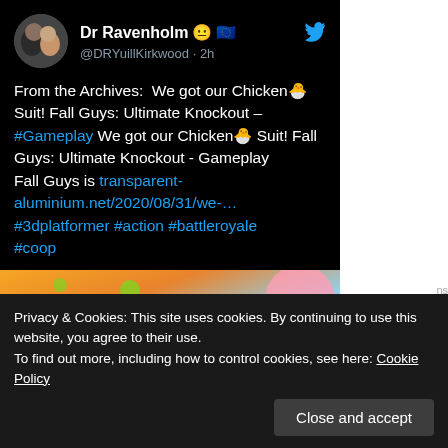Dr Ravenholm 😐 🇪🇺 @DRYuillKirkwood · 2h
From the Archives: We got our Chicken🐣 Suit! Fall Guys: Ultimate Knockout – #Gameplay We got our Chicken🐣 Suit! Fall Guys: Ultimate Knockout - Gameplay
Fall Guys is transparent-aluminium.net/2020/08/31/we-…
#3dplatformer #action #battleroyale #coop
[Figure (screenshot): Fall Guys: Ultimate Knockout game promotional image with colorful characters and 'FAL' text visible]
Privacy & Cookies: This site uses cookies. By continuing to use this website, you agree to their use.
To find out more, including how to control cookies, see here: Cookie Policy
Close and accept